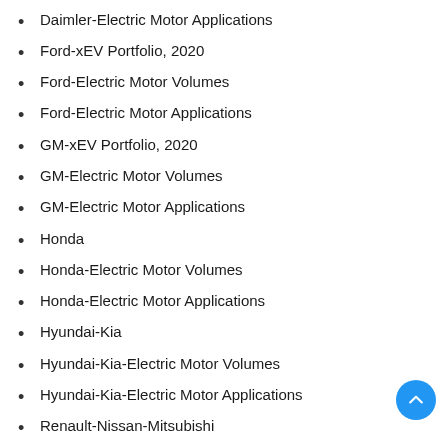Daimler-Electric Motor Applications
Ford-xEV Portfolio, 2020
Ford-Electric Motor Volumes
Ford-Electric Motor Applications
GM-xEV Portfolio, 2020
GM-Electric Motor Volumes
GM-Electric Motor Applications
Honda
Honda-Electric Motor Volumes
Honda-Electric Motor Applications
Hyundai-Kia
Hyundai-Kia-Electric Motor Volumes
Hyundai-Kia-Electric Motor Applications
Renault-Nissan-Mitsubishi
Renault-Nissan-Mitsubishi-Electric Motor Volumes
Renault-Nissan-Mitsubishi: Electric Motor Applications
Stellantis
Stellantis-Electric Motor Volumes
Stellantis-Electric Motor Applications
Tesla